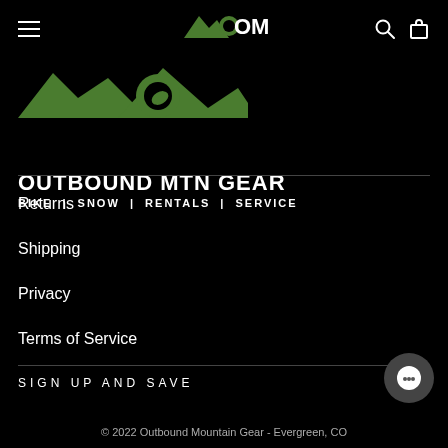[Figure (logo): OMG (Outbound Mountain Gear) logo with mountain graphic and text, top navigation bar with hamburger menu, search icon, and cart icon]
[Figure (logo): Outbound Mtn Gear logo with mountain/leaf graphic and tagline BIKE | SNOW | RENTALS | SERVICE]
Returns
Shipping
Privacy
Terms of Service
SIGN UP AND SAVE
© 2022 Outbound Mountain Gear - Evergreen, CO